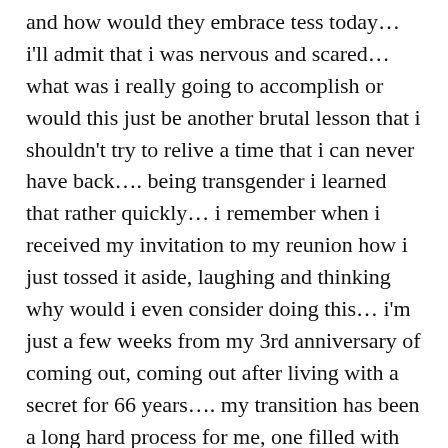and how would they embrace tess today… i'll admit that i was nervous and scared… what was i really going to accomplish or would this just be another brutal lesson that i shouldn't try to relive a time that i can never have back…. being transgender i learned that rather quickly… i remember when i received my invitation to my reunion how i just tossed it aside, laughing and thinking why would i even consider doing this… i'm just a few weeks from my 3rd anniversary of coming out, coming out after living with a secret for 66 years…. my transition has been a long hard process for me, one filled with more tears and depression then i ever had in the past but it was also filled with a happiness and a